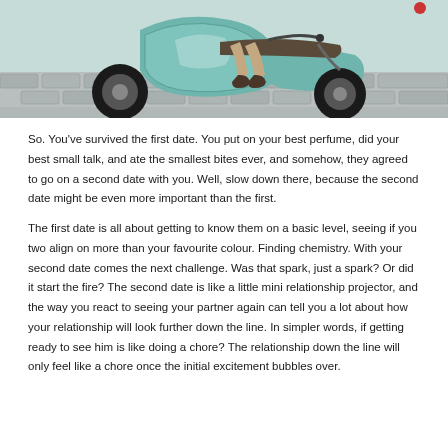[Figure (photo): Cropped photo of a person sitting on a teal/mint green vintage scooter on a cobblestone street, showing legs, boots, and the scooter's front wheel and body.]
So. You've survived the first date. You put on your best perfume, did your best small talk, and ate the smallest bites ever, and somehow, they agreed to go on a second date with you. Well, slow down there, because the second date might be even more important than the first.
The first date is all about getting to know them on a basic level, seeing if you two align on more than your favourite colour. Finding chemistry. With your second date comes the next challenge. Was that spark, just a spark? Or did it start the fire? The second date is like a little mini relationship projector, and the way you react to seeing your partner again can tell you a lot about how your relationship will look further down the line. In simpler words, if getting ready to see him is like doing a chore? The relationship down the line will only feel like a chore once the initial excitement bubbles over.